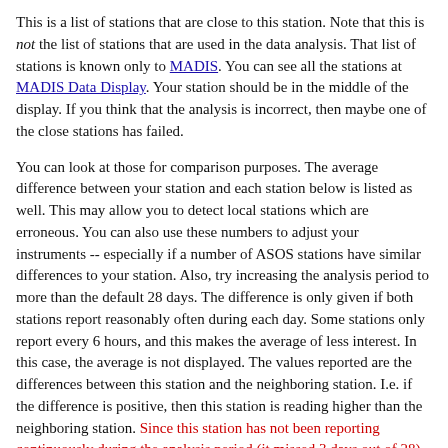This is a list of stations that are close to this station. Note that this is not the list of stations that are used in the data analysis. That list of stations is known only to MADIS. You can see all the stations at MADIS Data Display. Your station should be in the middle of the display. If you think that the analysis is incorrect, then maybe one of the close stations has failed.
You can look at those for comparison purposes. The average difference between your station and each station below is listed as well. This may allow you to detect local stations which are erroneous. You can also use these numbers to adjust your instruments -- especially if a number of ASOS stations have similar differences to your station. Also, try increasing the analysis period to more than the default 28 days. The difference is only given if both stations report reasonably often during each day. Some stations only report every 6 hours, and this makes the average of less interest. In this case, the average is not displayed. The values reported are the differences between this station and the neighboring station. I.e. if the difference is positive, then this station is reading higher than the neighboring station. Since this station has not been reporting continuously during the analysis period (it missed 3 days out of 28), the offsets below may not be accurate.